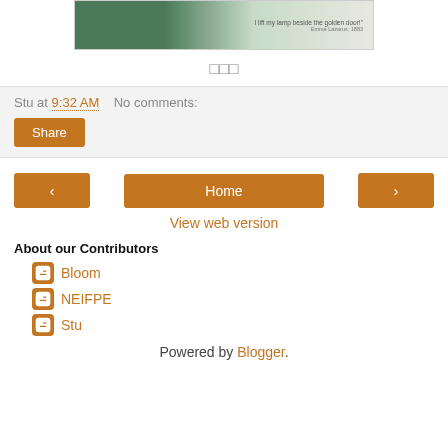[Figure (photo): Partial image of a plant/leaf with a quote text and attribution visible on the right side.]
□□□
Stu at 9:32 AM   No comments:
Share
Home
View web version
About our Contributors
Bloom
NEIFPE
Stu
Powered by Blogger.